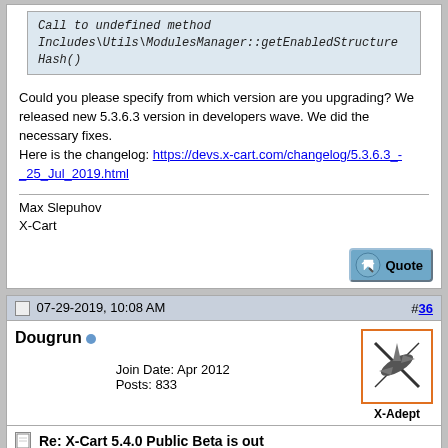[Figure (screenshot): Code block showing error: Call to undefined method Includes\Utils\ModulesManager::getEnabledStructure Hash()]
Could you please specify from which version are you upgrading? We released new 5.3.6.3 version in developers wave. We did the necessary fixes.
Here is the changelog: https://devs.x-cart.com/changelog/5.3.6.3_-_25_Jul_2019.html
Max Slepuhov
X-Cart
[Figure (screenshot): Quote button]
07-29-2019, 10:08 AM
#36
Dougrun
Join Date: Apr 2012
Posts: 833
[Figure (illustration): X-Adept avatar icon - airplane cross symbol in orange border]
Re: X-Cart 5.4.0 Public Beta is out
5.3.6.3 is what im on now. I left the 2 modules that it said needed to be disabled, installed, and tried it. I restored my backup and uninstalled those 2 modules and will try again tomorrow after it backs up again.
4.7.x xcart store
Business 5.4.xx